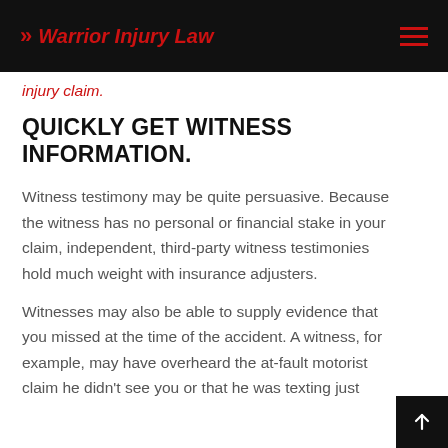>> Warrior Injury Law
injury claim.
QUICKLY GET WITNESS INFORMATION.
Witness testimony may be quite persuasive. Because the witness has no personal or financial stake in your claim, independent, third-party witness testimonies hold much weight with insurance adjusters.
Witnesses may also be able to supply evidence that you missed at the time of the accident. A witness, for example, may have overheard the at-fault motorist claim he didn't see you or that he was texting just